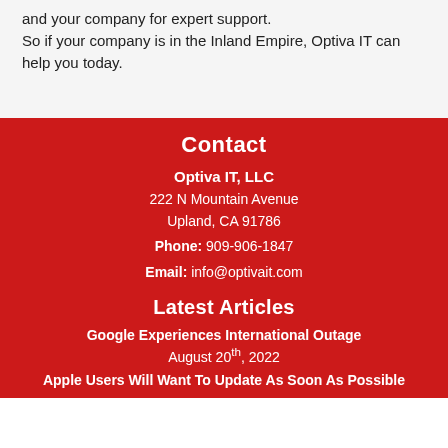and your company for expert support. So if your company is in the Inland Empire, Optiva IT can help you today.
Contact
Optiva IT, LLC
222 N Mountain Avenue
Upland, CA 91786
Phone: 909-906-1847
Email: info@optivait.com
Latest Articles
Google Experiences International Outage
August 20th, 2022
Apple Users Will Want To Update As Soon As Possible